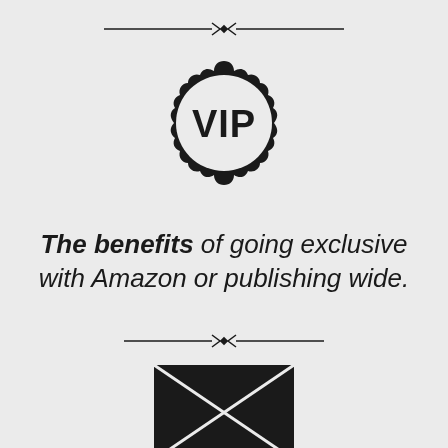[Figure (illustration): Decorative horizontal divider with arrow-like ornament at center, at top of page]
[Figure (illustration): VIP badge icon: circular badge with scalloped/gear-like border containing bold text 'VIP']
The benefits of going exclusive with Amazon or publishing wide.
[Figure (illustration): Decorative horizontal divider with arrow-like ornament at center, in middle of page]
[Figure (illustration): Envelope/message icon: black envelope shape with X cross lines and a speech bubble pointer at bottom]